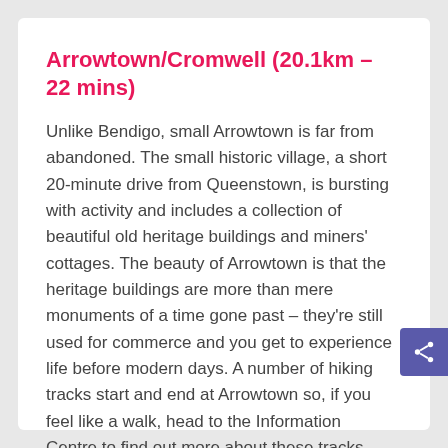Arrowtown/Cromwell (20.1km – 22 mins)
Unlike Bendigo, small Arrowtown is far from abandoned. The small historic village, a short 20-minute drive from Queenstown, is bursting with activity and includes a collection of beautiful old heritage buildings and miners' cottages. The beauty of Arrowtown is that the heritage buildings are more than mere monuments of a time gone past – they're still used for commerce and you get to experience life before modern days. A number of hiking tracks start and end at Arrowtown so, if you feel like a walk, head to the Information Centre to find out more about these tracks.